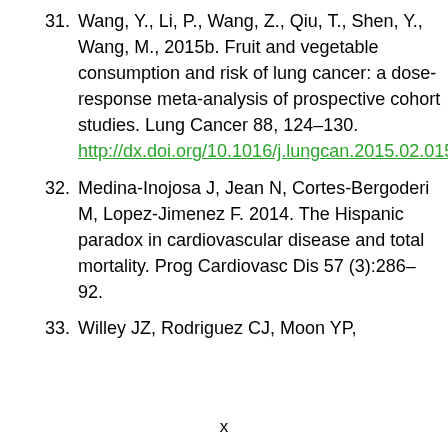31. Wang, Y., Li, P., Wang, Z., Qiu, T., Shen, Y., Wang, M., 2015b. Fruit and vegetable consumption and risk of lung cancer: a dose-response meta-analysis of prospective cohort studies. Lung Cancer 88, 124–130. http://dx.doi.org/10.1016/j.lungcan.2015.02.015.
32. Medina-Inojosa J, Jean N, Cortes-Bergoderi M, Lopez-Jimenez F. 2014. The Hispanic paradox in cardiovascular disease and total mortality. Prog Cardiovasc Dis 57 (3):286–92.
33. Willey JZ, Rodriguez CJ, Moon YP,...
x